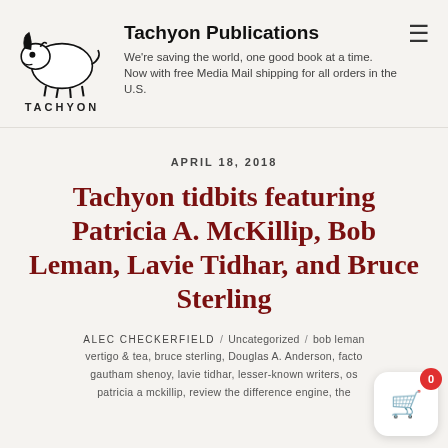Tachyon Publications — We're saving the world, one good book at a time. Now with free Media Mail shipping for all orders in the U.S.
APRIL 18, 2018
Tachyon tidbits featuring Patricia A. McKillip, Bob Leman, Lavie Tidhar, and Bruce Sterling
ALEC CHECKERFIELD / Uncategorized / bob leman vertigo & tea, bruce sterling, Douglas A. Anderson, facto, gautham shenoy, lavie tidhar, lesser-known writers, os, patricia a mckillip, review the difference engine, the